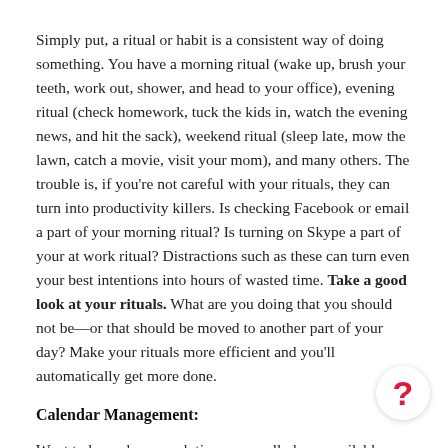Simply put, a ritual or habit is a consistent way of doing something. You have a morning ritual (wake up, brush your teeth, work out, shower, and head to your office), evening ritual (check homework, tuck the kids in, watch the evening news, and hit the sack), weekend ritual (sleep late, mow the lawn, catch a movie, visit your mom), and many others. The trouble is, if you're not careful with your rituals, they can turn into productivity killers. Is checking Facebook or email a part of your morning ritual? Is turning on Skype a part of your at work ritual? Distractions such as these can turn even your best intentions into hours of wasted time. Take a good look at your rituals. What are you doing that you should not be—or that should be moved to another part of your day? Make your rituals more efficient and you'll automatically get more done.
Calendar Management:
Want to know how much time you really have available for that new project? Try blocking off time in your calendar for your existing projects. Fill in all your client calls, your business